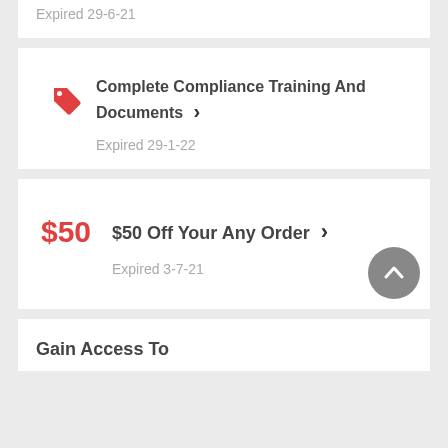Expired 29-6-21
Complete Compliance Training And Documents
Expired 29-1-22
$50 Off Your Any Order
Expired 3-7-21
Gain Access To